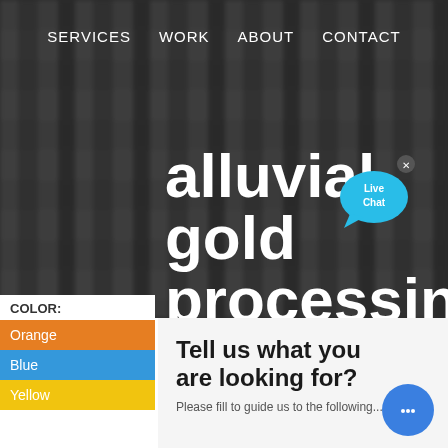SERVICES   WORK   ABOUT   CONTACT
alluvial gold processing plant
[Figure (illustration): Live Chat speech bubble icon with 'Live Chat' text and a small x close button]
COLOR:
Orange
Blue
Yellow
Tell us what you are looking for?
Please fill to guide us to the following...